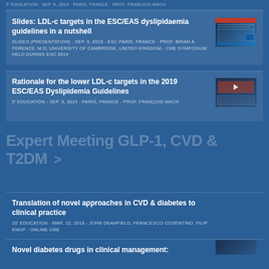5' EDUCATION - SEP. 9, 2019 - PARIS, FRANCE - PROF. FRANCOIS MACH
Slides: LDL-c targets in the ESC/EAS dyslipidaemia guidelines in a nutshell
SLIDES (PRESENTATION) - SEP. 9, 2019 - ESC PARIS, FRANCE - PROF. BRIAN A. FERENCE, M.D, UNIVERSITY OF CAMBRIDGE, UNITED KINGDOM - CME SYMPOSIUM HELD DURING ESC 2019
Rationale for the lower LDL-c targets in the 2019 ESC/EAS Dyslipidemia Guidelines
5' EDUCATION - SEP. 9, 2019 - PARIS, FRANCE - PROF. FRANÇOIS MACH
Expert Meeting GLP-1, CVD & T2DM >
Translation of novel approaches in CVD & diabetes to clinical practice
10' EDUCATION - MAR. 22, 2018 - JOHN DEANFIELD, FRANCESCO COSENTINO, FILIP KNOP - ONLINE CME
Novel diabetes drugs in clinical management: